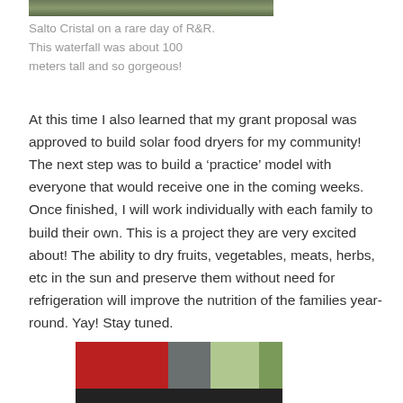[Figure (photo): Partial view of a waterfall photo at top of page (cropped, only bottom edge visible)]
Salto Cristal on a rare day of R&R. This waterfall was about 100 meters tall and so gorgeous!
At this time I also learned that my grant proposal was approved to build solar food dryers for my community! The next step was to build a ‘practice’ model with everyone that would receive one in the coming weeks. Once finished, I will work individually with each family to build their own. This is a project they are very excited about! The ability to dry fruits, vegetables, meats, herbs, etc in the sun and preserve them without need for refrigeration will improve the nutrition of the families year-round. Yay! Stay tuned.
[Figure (photo): Partial view of a photo at bottom of page showing a Coca-Cola vending machine or signage in red, with a grey structure and green foliage in the background (cropped, only top portion visible)]